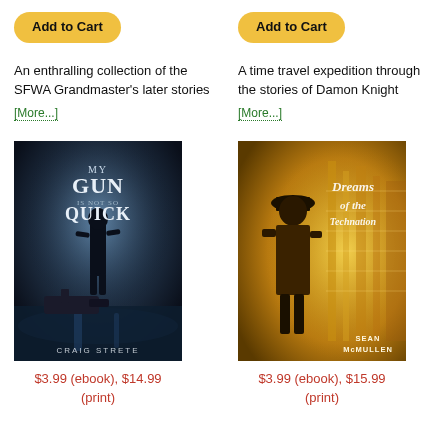[Figure (other): Add to Cart button (yellow/gold pill shape) for left column book]
[Figure (other): Add to Cart button (yellow/gold pill shape) for right column book]
An enthralling collection of the SFWA Grandmaster's later stories
[More...]
A time travel expedition through the stories of Damon Knight
[More...]
[Figure (photo): Book cover: My Gun Is Not So Quick by Craig Strete — dark moody cover with figure walking away, handgun in foreground]
[Figure (photo): Book cover: Dreams of the Technation by Sean McMullen — golden toned cover with man in bowler hat looking at machinery]
$3.99 (ebook), $14.99 (print)
$3.99 (ebook), $15.99 (print)